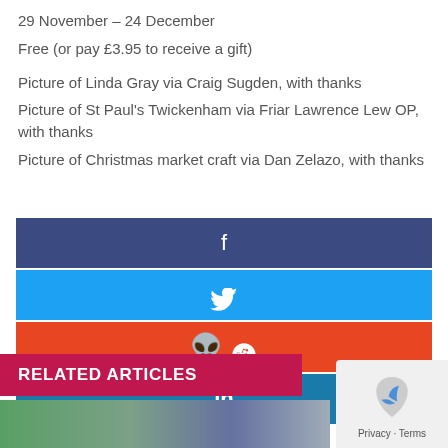29 November – 24 December
Free (or pay £3.95 to receive a gift)
Picture of Linda Gray via Craig Sugden, with thanks
Picture of St Paul's Twickenham via Friar Lawrence Lew OP, with thanks
Picture of Christmas market craft via Dan Zelazo, with thanks
[Figure (infographic): Social share buttons: Facebook (dark blue), Twitter (blue), Reddit (red-orange), LinkedIn (blue)]
RELATED ARTICLES